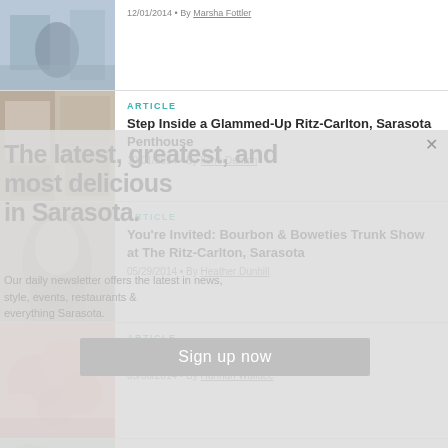[Figure (screenshot): Article listing page for a lifestyle/travel publication (likely Sarasota Magazine or similar), showing article cards with thumbnail images, article type tags, titles, dates, and author links. A newsletter signup overlay is partially visible.]
ARTICLE
Step Inside a Glammed-Up Ritz-Carlton, Sarasota Penthouse
10/01/2014 • By Ilene Denton
ARTICLE
You're Invited: Bourbon & Boweties Trunk Show at The Ritz-Carlton, Sarasota
05/29/2014 • By Heather Dunhill
ARTICLE
Mother's Day Brunches in Sarasota
05/06/2014 • By Hannah Wallace
ARTICLE
Beachy-Chic Resort Wear for Spring